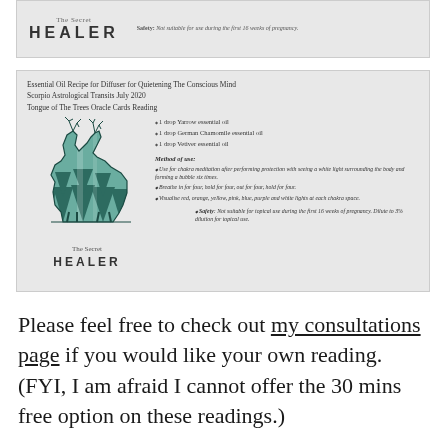[Figure (illustration): Partial view of The Secret Healer card top showing logo and safety note (cropped from above)]
[Figure (illustration): The Secret Healer essential oil recipe card with deer logo illustration, recipe title lines, ingredient list, method of use instructions, and safety note]
Please feel free to check out my consultations page if you would like your own reading. (FYI, I am afraid I cannot offer the 30 mins free option on these readings.)